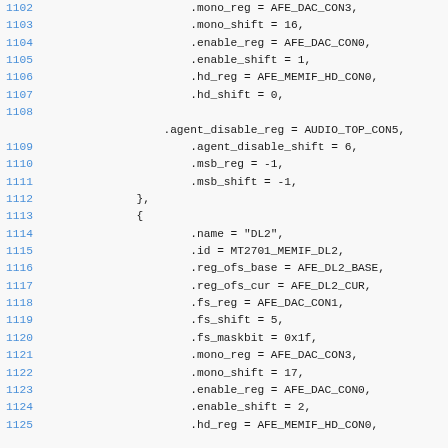Source code listing lines 1102-1125 showing C struct initializer fields including .mono_reg, .mono_shift, .enable_reg, .enable_shift, .hd_reg, .hd_shift, .agent_disable_reg, .agent_disable_shift, .msb_reg, .msb_shift, closing brace, opening brace, .name, .id, .reg_ofs_base, .reg_ofs_cur, .fs_reg, .fs_shift, .fs_maskbit, .mono_reg, .mono_shift, .enable_reg, .enable_shift, .hd_reg